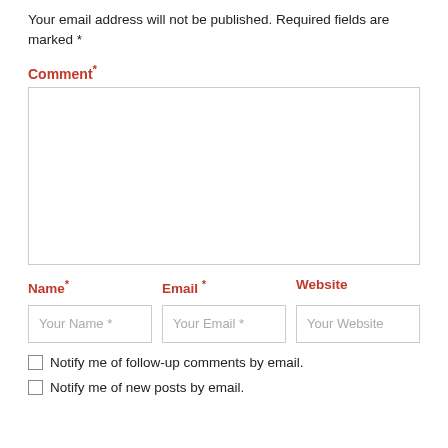Your email address will not be published. Required fields are marked *
Comment*
[Figure (other): Comment text area input box]
Name*
Email*
Website
[Figure (other): Three input fields: Your Name *, Your Email *, Your Website]
Notify me of follow-up comments by email.
Notify me of new posts by email.